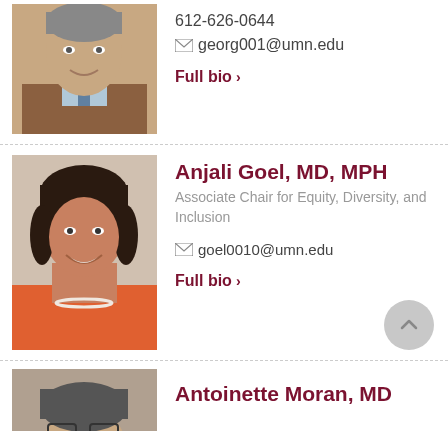[Figure (photo): Headshot of a middle-aged man in a brown jacket and light blue tie, smiling]
612-626-0644
georg001@umn.edu
Full bio >
[Figure (photo): Headshot of a woman with shoulder-length dark hair wearing an orange top and pearl necklace, smiling]
Anjali Goel, MD, MPH
Associate Chair for Equity, Diversity, and Inclusion
goel0010@umn.edu
Full bio >
[Figure (photo): Partial headshot of a person with glasses, only top of head visible]
Antoinette Moran, MD